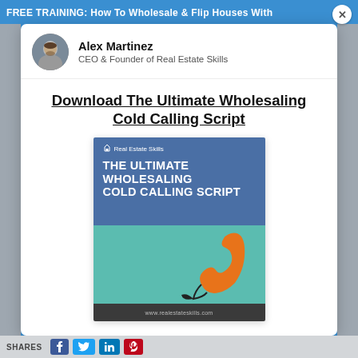FREE TRAINING: How To Wholesale & Flip Houses With...
[Figure (photo): Circular avatar photo of Alex Martinez, a man with short hair and beard]
Alex Martinez
CEO & Founder of Real Estate Skills
Download The Ultimate Wholesaling Cold Calling Script
[Figure (illustration): Book cover for 'The Ultimate Wholesaling Cold Calling Script' by Real Estate Skills, with blue top section showing the title text and teal bottom section showing an orange telephone handset, with dark footer showing www.realestateskills.com]
SHARES